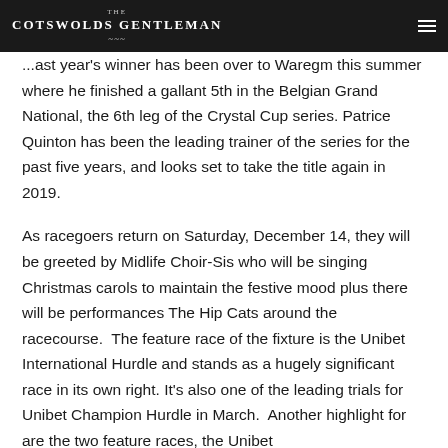THE COTSWOLDS GENTLEMAN
...ast year's winner has been over to Waregm this summer where he finished a gallant 5th in the Belgian Grand National, the 6th leg of the Crystal Cup series. Patrice Quinton has been the leading trainer of the series for the past five years, and looks set to take the title again in 2019.
As racegoers return on Saturday, December 14, they will be greeted by Midlife Choir-Sis who will be singing Christmas carols to maintain the festive mood plus there will be performances The Hip Cats around the racecourse.  The feature race of the fixture is the Unibet International Hurdle and stands as a hugely significant race in its own right. It's also one of the leading trials for Unibet Champion Hurdle in March.  Another highlight for are the two feature races, the Unibet